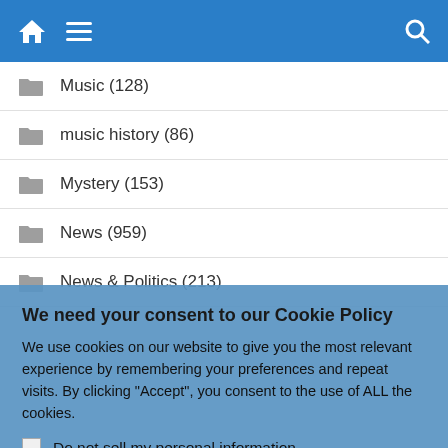Navigation bar with home icon, menu icon, and search icon
Music (128)
music history (86)
Mystery (153)
News (959)
News & Politics (213)
We need your consent to our Cookie Policy
We use cookies on our website to give you the most relevant experience by remembering your preferences and repeat visits. By clicking "Accept", you consent to the use of ALL the cookies.
Do not sell my personal information.
Cookie Settings  Accept